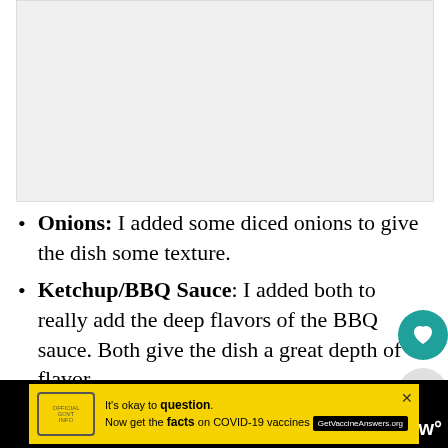[Figure (photo): Large image placeholder (light gray background), partially visible at the top of the page]
Onions: I added some diced onions to give the dish some texture.
Ketchup/BBQ Sauce: I added both to really add the deep flavors of the BBQ sauce. Both give the dish a great depth of flavor.
[Figure (infographic): COVID-19 vaccine advertisement banner: yellow background with text 'It’s okay to question. Now get the facts on COVID-19 vaccines GetVaccineAnswers.org']